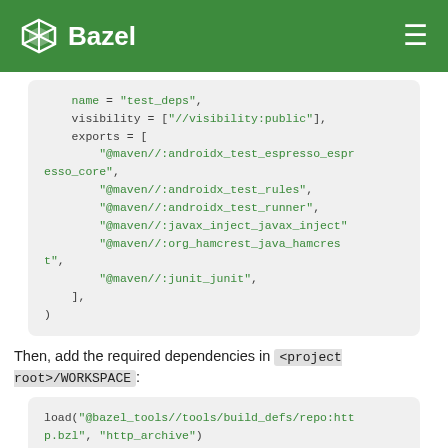Bazel
[Figure (screenshot): Code block showing Bazel BUILD file snippet with visibility and exports fields listing maven dependencies]
Then, add the required dependencies in <project root>/WORKSPACE:
[Figure (screenshot): Code block showing load statement: load("@bazel_tools//tools/build_defs/repo:http.bzl", "http_archive")]